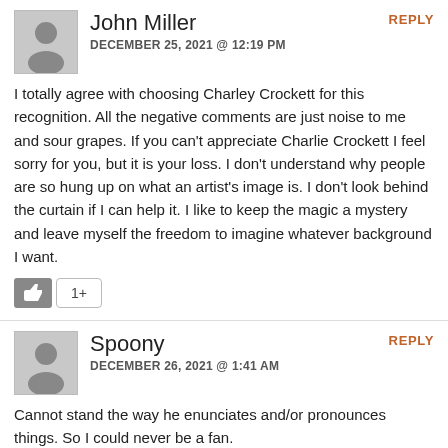REPLY
John Miller
DECEMBER 25, 2021 @ 12:19 PM
I totally agree with choosing Charley Crockett for this recognition. All the negative comments are just noise to me and sour grapes. If you can't appreciate Charlie Crockett I feel sorry for you, but it is your loss. I don't understand why people are so hung up on what an artist's image is. I don't look behind the curtain if I can help it. I like to keep the magic a mystery and leave myself the freedom to imagine whatever background I want.
REPLY
Spoony
DECEMBER 26, 2021 @ 1:41 AM
Cannot stand the way he enunciates and/or pronounces things. So I could never be a fan.
REPLY
Terra
DECEMBER 28, 2021 @ 10:58 AM